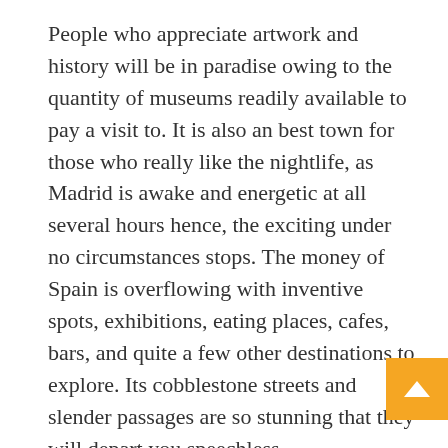People who appreciate artwork and history will be in paradise owing to the quantity of museums readily available to pay a visit to. It is also an best town for those who really like the nightlife, as Madrid is awake and energetic at all several hours hence, the exciting under no circumstances stops. The money of Spain is overflowing with inventive spots, exhibitions, eating places, cafes, bars, and quite a few other destinations to explore. Its cobblestone streets and slender passages are so stunning that they will depart you speechless.
There is so considerably to take up, study and investigate that you will obtain it unachievable to get bored. But over and above its cultural activ and elegance, studying Spanish in Madrid will permit you to entirely immerse oneself in the